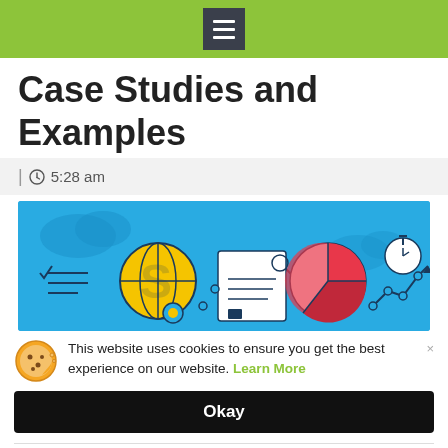Case Studies and Examples
| 🕐 5:28 am
[Figure (illustration): SEO themed illustration with blue background showing a globe with dollar sign, gear, search box, pie chart, and stopwatch with upward trend arrow — colorful flat design icons spelling out SEO concept]
This website uses cookies to ensure you get the best experience on our website. Learn More
Okay